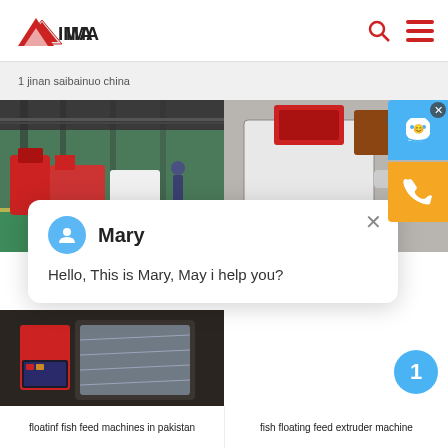ZIMA logo with search and menu icons
1 jinan saibainuo china
[Figure (photo): Factory floor with red industrial machines and workers]
[Figure (photo): White and red industrial machine extruder close-up]
[Figure (screenshot): Chat popup with Mary avatar. Message: Hello, This is Mary, May i help you?]
[Figure (photo): Fish feed machine wrapped in plastic packaging]
[Figure (photo): Fish floating feed extruder machine with worker and blue badge showing 1]
floatinf fish feed machines in pakistan
fish floating feed extruder machine